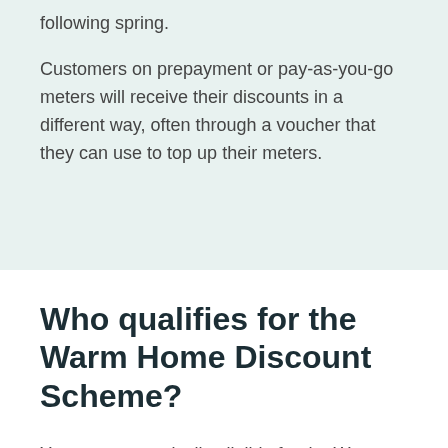following spring.
Customers on prepayment or pay-as-you-go meters will receive their discounts in a different way, often through a voucher that they can use to top up their meters.
Who qualifies for the Warm Home Discount Scheme?
You are automatically eligible for the Warm Home Discount scheme if all of the following criteria apply to you: